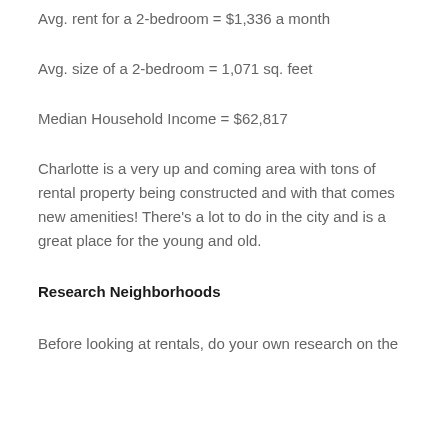Avg. rent for a 2-bedroom = $1,336 a month
Avg. size of a 2-bedroom = 1,071 sq. feet
Median Household Income = $62,817
Charlotte is a very up and coming area with tons of rental property being constructed and with that comes new amenities! There's a lot to do in the city and is a great place for the young and old.
Research Neighborhoods
Before looking at rentals, do your own research on the